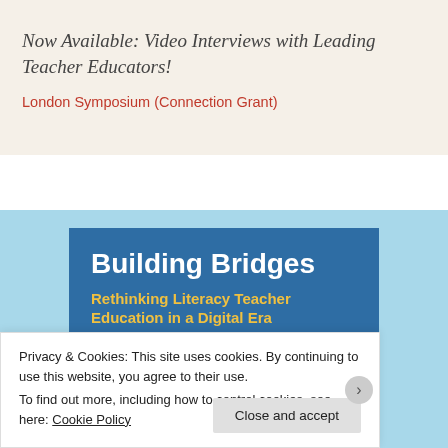Now Available: Video Interviews with Leading Teacher Educators!
London Symposium (Connection Grant)
[Figure (illustration): Book cover for 'Building Bridges: Rethinking Literacy Teacher Education in a Digital Era' shown on a light blue background]
Privacy & Cookies: This site uses cookies. By continuing to use this website, you agree to their use. To find out more, including how to control cookies, see here: Cookie Policy
Close and accept